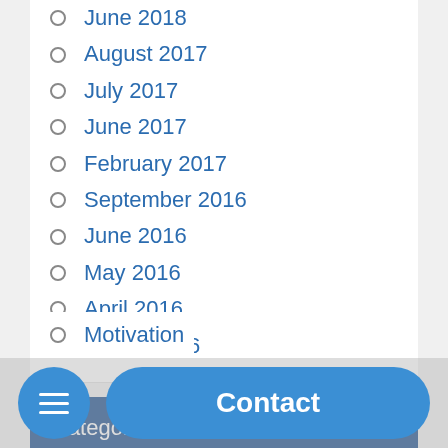June 2018
August 2017
July 2017
June 2017
February 2017
September 2016
June 2016
May 2016
April 2016
March 2016
Categories
Books lesson
Business
General
...in
...ney
Motivation